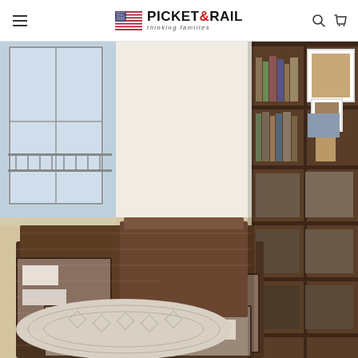PICKET&RAIL thinking families
[Figure (photo): A Murphy/storage bed with dark walnut wood finish, shown with multiple drawers open revealing storage compartments. Behind the bed is a tall dark walnut bookshelf/shelving unit filled with books, boxes, and framed pictures. The room has light wood flooring, a patterned geometric rug, and a large window with natural light.]